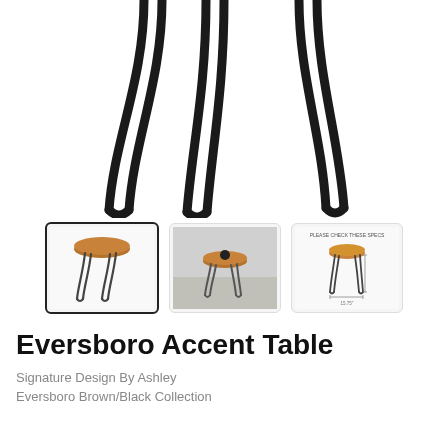[Figure (photo): Close-up photo of hairpin table legs (black metal, three-prong style) against white background, showing the legs from below the table top]
[Figure (photo): Thumbnail 1: Full view of Eversboro accent table with round brown wood top and black hairpin legs, selected state]
[Figure (photo): Thumbnail 2: Lifestyle photo of the accent table in a room setting next to a couch]
[Figure (photo): Thumbnail 3: Dimension diagram of the accent table showing measurements]
Eversboro Accent Table
Signature Design By Ashley
Eversboro Brown/Black Collection